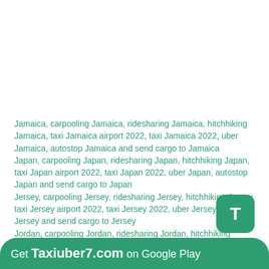Jamaica, carpooling Jamaica, ridesharing Jamaica, hitchhiking Jamaica, taxi Jamaica airport 2022, taxi Jamaica 2022, uber Jamaica, autostop Jamaica and send cargo to Jamaica
Japan, carpooling Japan, ridesharing Japan, hitchhiking Japan, taxi Japan airport 2022, taxi Japan 2022, uber Japan, autostop Japan and send cargo to Japan
Jersey, carpooling Jersey, ridesharing Jersey, hitchhiking Jersey, taxi Jersey airport 2022, taxi Jersey 2022, uber Jersey, autostop Jersey and send cargo to Jersey
Jordan, carpooling Jordan, ridesharing Jordan, hitchhiking Jordan, taxi Jordan airport 2022, taxi
Get Taxiuber7.com on Google Play